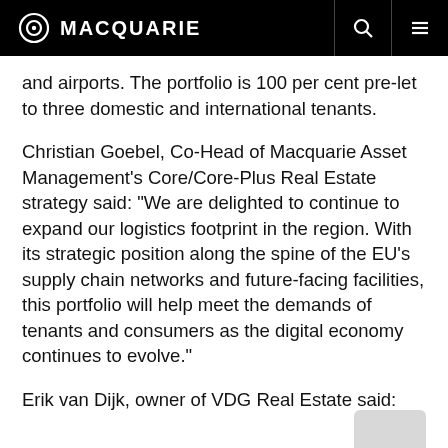MACQUARIE
and airports. The portfolio is 100 per cent pre-let to three domestic and international tenants.
Christian Goebel, Co-Head of Macquarie Asset Management’s Core/Core-Plus Real Estate strategy said: “We are delighted to continue to expand our logistics footprint in the region. With its strategic position along the spine of the EU’s supply chain networks and future-facing facilities, this portfolio will help meet the demands of tenants and consumers as the digital economy continues to evolve.”
Erik van Dijk, owner of VDG Real Estate said: